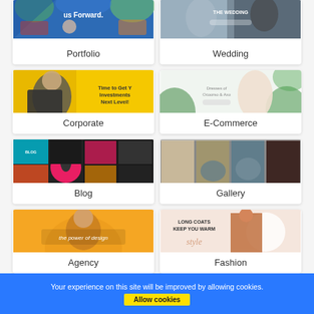[Figure (screenshot): Portfolio website thumbnail — colorful floral background with text 'us Forward']
Portfolio
[Figure (screenshot): Wedding website thumbnail — couple in formal attire with dark background]
Wedding
[Figure (screenshot): Corporate website thumbnail — man with laptop on yellow background, text 'Time to Get Your Investments Next Level!']
Corporate
[Figure (screenshot): E-Commerce website thumbnail — woman model with green leaves, text 'Dresses of Ocoorso & Axo']
E-Commerce
[Figure (screenshot): Blog website thumbnail — colorful pop-art style with bird on pink circle]
Blog
[Figure (screenshot): Gallery website thumbnail — collage of four photos: sand, rocks, ocean, night city]
Gallery
[Figure (screenshot): Agency website thumbnail — woman with sunglasses on orange background, text 'the power of design']
Agency
[Figure (screenshot): Fashion website thumbnail — woman in orange coat on light pink background, text 'LONG COATS KEEP YOU WARM']
Fashion
Your experience on this site will be improved by allowing cookies.
Allow cookies